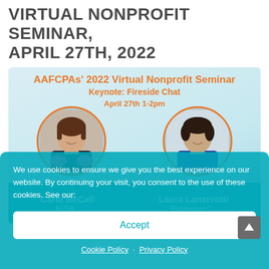VIRTUAL NONPROFIT SEMINAR, APRIL 27TH, 2022
[Figure (illustration): AAFCPAs 2022 Virtual Nonprofit Seminar promotional card with two speaker photos (Carla McCall and Laura Lanzerotti) framed in orange circles on a light blue-teal background, with orange text headings: 'AAFCPAs' 2022 Virtual Nonprofit Seminar', 'Keynote: Fireside Chat', 'April 27th 1-2pm', and a teal name bar at the bottom.]
We use cookies to ensure we give you the best experience on our website. By continuing your visit, you consent to the use of these cookies. See our:
Accept
Cookie Policy · Privacy Policy